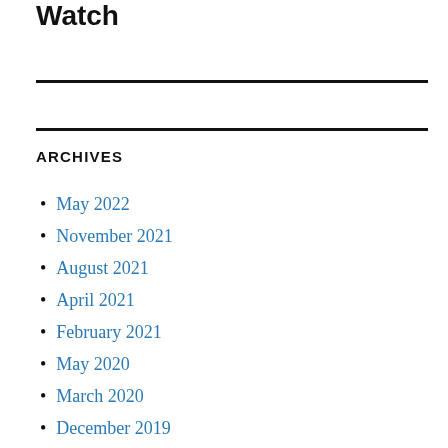Watch
ARCHIVES
May 2022
November 2021
August 2021
April 2021
February 2021
May 2020
March 2020
December 2019
May 2019